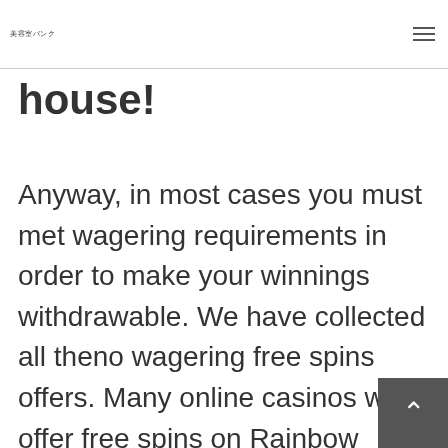美容室バンク
house!
Anyway, in most cases you must met wagering requirements in order to make your winnings withdrawable. We have collected all theno wagering free spins offers. Many online casinos will offer free spins on Rainbow Riches as part of their bonuses. The Rainbow Riches franchise is one of the biggest out there and offers huge payouts as well as stacks of fun. To get started, you'll need to register with